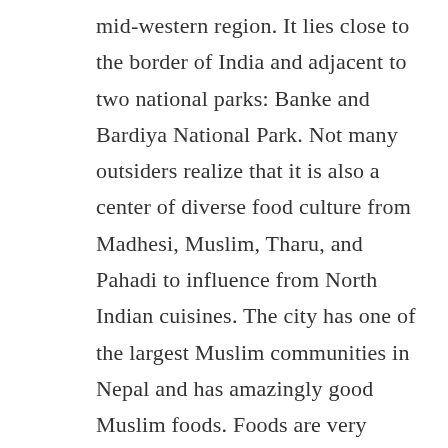mid-western region. It lies close to the border of India and adjacent to two national parks: Banke and Bardiya National Park. Not many outsiders realize that it is also a center of diverse food culture from Madhesi, Muslim, Tharu, and Pahadi to influence from North Indian cuisines. The city has one of the largest Muslim communities in Nepal and has amazingly good Muslim foods. Foods are very affordable and street food culture is very vibrant.